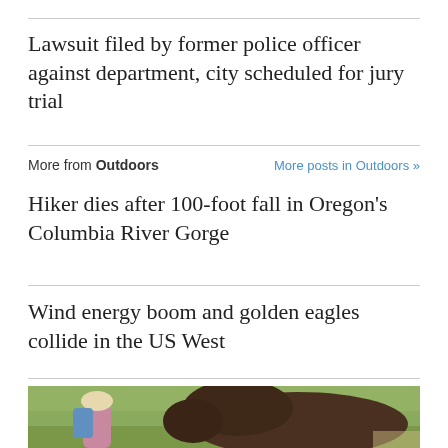Lawsuit filed by former police officer against department, city scheduled for jury trial
More from Outdoors
More posts in Outdoors »
Hiker dies after 100-foot fall in Oregon's Columbia River Gorge
Wind energy boom and golden eagles collide in the US West
[Figure (photo): Photo of a bison and a person in an outdoor field setting]